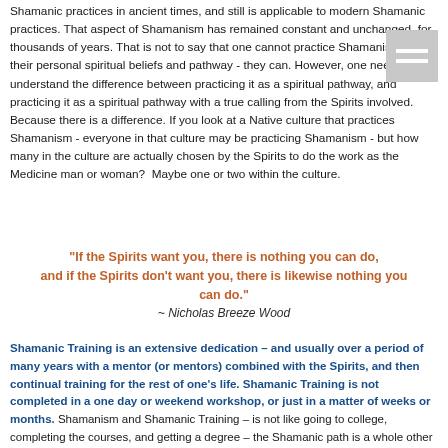Shamanic practices in ancient times, and still is applicable to modern Shamanic practices. That aspect of Shamanism has remained constant and unchanged, for thousands of years. That is not to say that one cannot practice Shamanism as their personal spiritual beliefs and pathway - they can. However, one needs to understand the difference between practicing it as a spiritual pathway, and practicing it as a spiritual pathway with a true calling from the Spirits involved. Because there is a difference. If you look at a Native culture that practices Shamanism - everyone in that culture may be practicing Shamanism - but how many in the culture are actually chosen by the Spirits to do the work as the Medicine man or woman?  Maybe one or two within the culture.
"If the Spirits want you, there is nothing you can do, and if the Spirits don't want you, there is likewise nothing you can do." ~ Nicholas Breeze Wood
Shamanic Training is an extensive dedication – and usually over a period of many years with a mentor (or mentors) combined with the Spirits, and then continual training for the rest of one's life. Shamanic Training is not completed in a one day or weekend workshop, or just in a matter of weeks or months. Shamanism and Shamanic Training – is not like going to college, completing the courses, and getting a degree – the Shamanic path is a whole other "Animal" in itself, and cannot really be compared to that format. It also cannot really be compared to any other form of spiritual or energetic healing work. Shamanism is in it's own category and realm, and operates in its own way. Shamanic training is also not